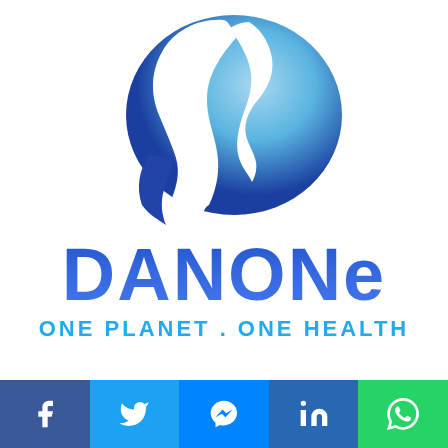[Figure (logo): Danone logo with globe/face silhouette, DANONE text, and ONE PLANET. ONE HEALTH tagline]
[Figure (infographic): Social media share bar with Facebook, Twitter, Messenger, LinkedIn, and WhatsApp icons]